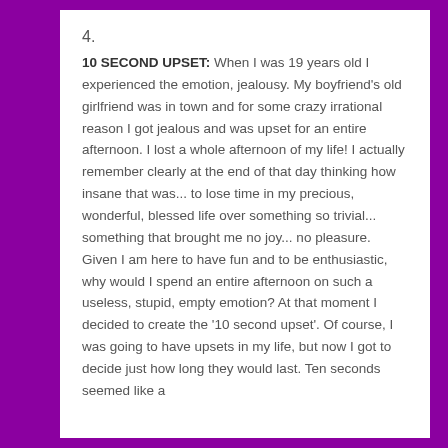4.
10 SECOND UPSET:  When I was 19 years old I experienced the emotion, jealousy.  My boyfriend’s old girlfriend was in town and for some crazy irrational reason I got jealous and was upset for an entire afternoon.  I lost a whole afternoon of my life! I actually remember clearly at the end of that day thinking how insane that was... to lose time in my precious, wonderful, blessed life over something so trivial... something that brought me no joy... no pleasure.  Given I am here to have fun and to be enthusiastic, why would I spend an entire afternoon on such a useless, stupid, empty emotion? At that moment I decided to create the ‘10 second upset’. Of course, I was going to have upsets in my life, but now I got to decide just  how long they would last. Ten seconds seemed like a